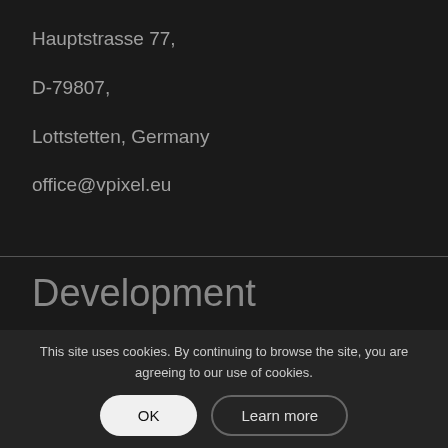Hauptstrasse 77,
D-79807,
Lottstetten, Germany
office@vpixel.eu
Development
LT-50120,
Kaunas, Lithuania
This site uses cookies. By continuing to browse the site, you are agreeing to our use of cookies.